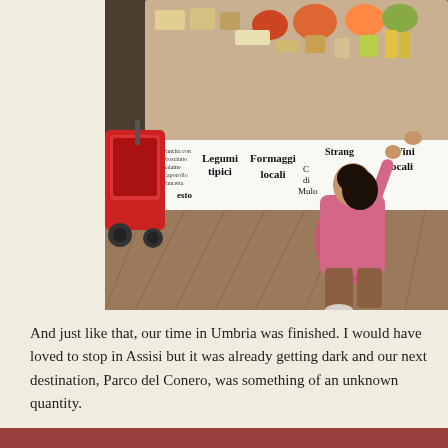[Figure (photo): A young girl in a pink floral jacket reaching upward with one arm outside a shop displaying Italian food products (Legumi tipici, Formaggi locali, Vini locali, Strangozzi, etc.) with a red stroller visible on the left.]
And just like that, our time in Umbria was finished. I would have loved to stop in Assisi but it was already getting dark and our next destination, Parco del Conero, was something of an unknown quantity.